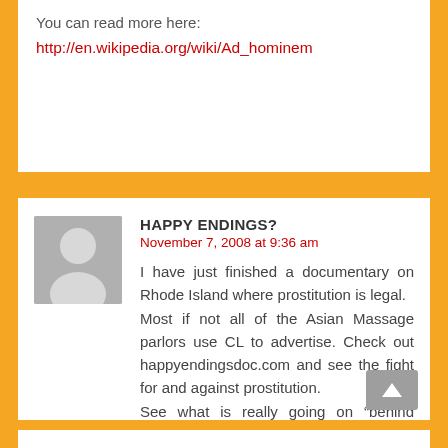You can read more here:
http://en.wikipedia.org/wiki/Ad_hominem
HAPPY ENDINGS?
November 7, 2008 at 9:36 am
I have just finished a documentary on Rhode Island where prostitution is legal.
Most if not all of the Asian Massage parlors use CL to advertise. Check out happyendingsdoc.com and see the fight for and against prostitution.
See what is really going on “behind closed doors”